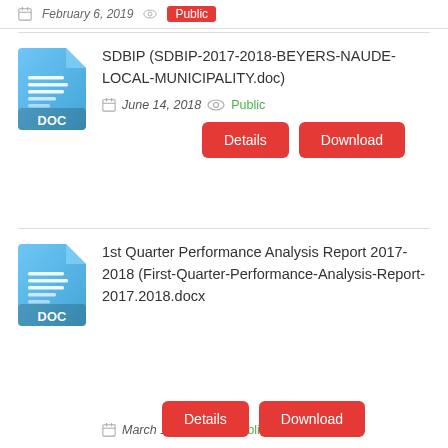February 6, 2019   Public
SDBIP (SDBIP-2017-2018-BEYERS-NAUDE-LOCAL-MUNICIPALITY.doc)
June 14, 2018   Public
Details   Download
1st Quarter Performance Analysis Report 2017-2018 (First-Quarter-Performance-Analysis-Report-2017.2018.docx
March 1, 2018   Public
Details   Download